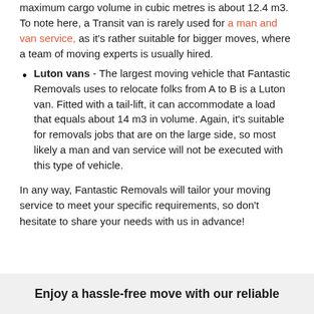maximum cargo volume in cubic metres is about 12.4 m3. To note here, a Transit van is rarely used for a man and van service, as it's rather suitable for bigger moves, where a team of moving experts is usually hired.
Luton vans - The largest moving vehicle that Fantastic Removals uses to relocate folks from A to B is a Luton van. Fitted with a tail-lift, it can accommodate a load that equals about 14 m3 in volume. Again, it's suitable for removals jobs that are on the large side, so most likely a man and van service will not be executed with this type of vehicle.
In any way, Fantastic Removals will tailor your moving service to meet your specific requirements, so don't hesitate to share your needs with us in advance!
Enjoy a hassle-free move with our reliable